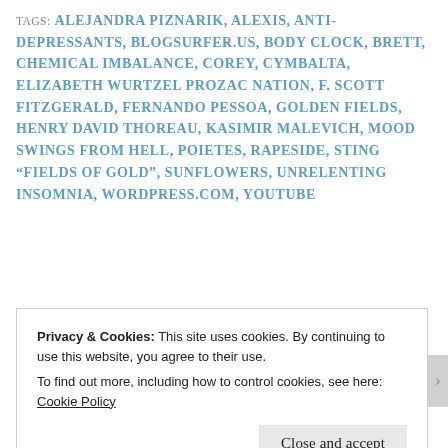TAGS: ALEJANDRA PIZNARIK, ALEXIS, ANTI-DEPRESSANTS, BLOGSURFER.US, BODY CLOCK, BRETT, CHEMICAL IMBALANCE, COREY, CYMBALTA, ELIZABETH WURTZEL PROZAC NATION, F. SCOTT FITZGERALD, FERNANDO PESSOA, GOLDEN FIELDS, HENRY DAVID THOREAU, KASIMIR MALEVICH, MOOD SWINGS FROM HELL, POIETES, RAPESIDE, STING "FIELDS OF GOLD", SUNFLOWERS, UNRELENTING INSOMNIA, WORDPRESS.COM, YOUTUBE
Privacy & Cookies: This site uses cookies. By continuing to use this website, you agree to their use.
To find out more, including how to control cookies, see here: Cookie Policy